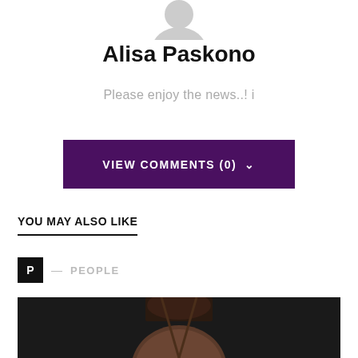[Figure (illustration): Gray avatar/profile silhouette icon, top half visible]
Alisa Paskono
Please enjoy the news..! i
VIEW COMMENTS (0) ˅
YOU MAY ALSO LIKE
P — PEOPLE
[Figure (photo): Partial photo of a person with dark hair against a dark background]